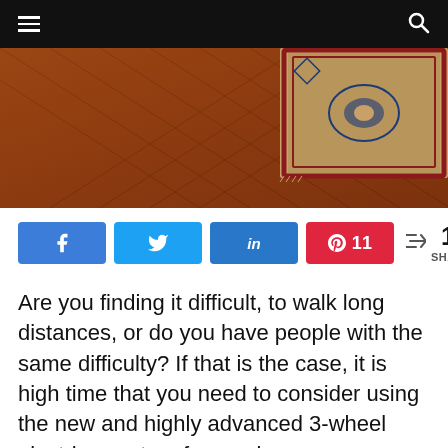☰  [navigation]  🔍
[Figure (photo): Photo of wooden herringbone floor with a decorative Persian rug in the corner]
[Figure (infographic): Social share buttons: Facebook, Twitter, LinkedIn, Pinterest (11 saves), and share count showing 11 SHARES]
Are you finding it difficult, to walk long distances, or do you have people with the same difficulty? If that is the case, it is high time that you need to consider using the new and highly advanced 3-wheel electric scooters for maximum functionality. They are an ideal traveler to the market, shopping, and adventures. Likewise, it is perfect for both fun and transportation activities, and they feature a convenient rear basket to store your items and